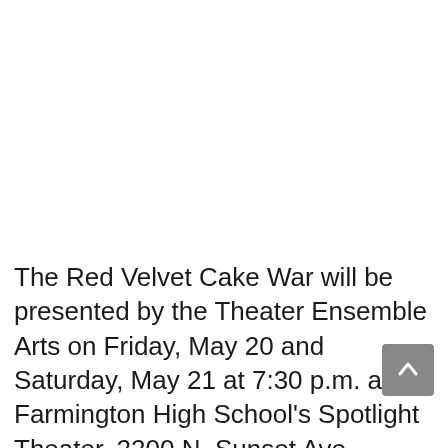The Red Velvet Cake War will be presented by the Theater Ensemble Arts on Friday, May 20 and Saturday, May 21 at 7:30 p.m. at Farmington High School's Spotlight Theater, 2200 N. Sunset Ave. Tickets are $12 for adults, and $10 for students and seniors. They can be purchased online at https://theater-ensemble-arts.square.site/ or at the door. Production will resume